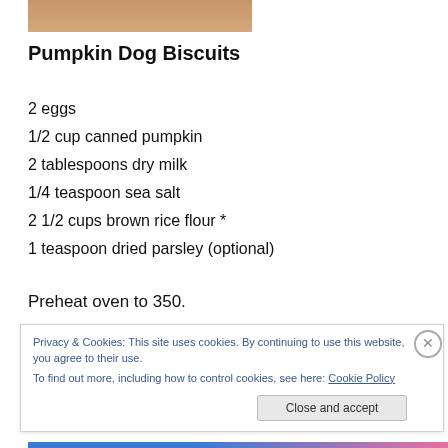[Figure (photo): Partial photo of pumpkin dog biscuits, cropped at top of page]
Pumpkin Dog Biscuits
2 eggs
1/2 cup canned pumpkin
2 tablespoons dry milk
1/4 teaspoon sea salt
2 1/2 cups brown rice flour *
1 teaspoon dried parsley (optional)
Preheat oven to 350.
Privacy & Cookies: This site uses cookies. By continuing to use this website, you agree to their use.
To find out more, including how to control cookies, see here: Cookie Policy